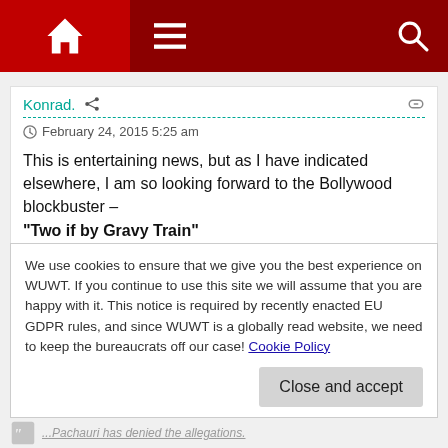Navigation bar with home, menu, and search icons
Konrad.
February 24, 2015 5:25 am
This is entertaining news, but as I have indicated elsewhere, I am so looking forward to the Bollywood blockbuster –
"Two if by Gravy Train"
*Staring Rajendra Pachauri*
"Their passion would melt the Himalayan Glaciers"
We use cookies to ensure that we give you the best experience on WUWT. If you continue to use this site we will assume that you are happy with it. This notice is required by recently enacted EU GDPR rules, and since WUWT is a globally read website, we need to keep the bureaucrats off our case! Cookie Policy
Close and accept